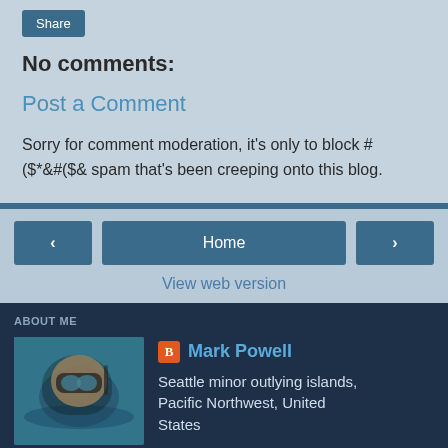Share
No comments:
Post a Comment
Sorry for comment moderation, it's only to block #($*&#($& spam that's been creeping onto this blog.
‹  Home  ›
View web version
ABOUT ME
[Figure (photo): Profile photo of Mark Powell wearing scuba/snorkel mask underwater]
Mark Powell
Seattle minor outlying islands, Pacific Northwest, United States
I grew up with fishing and the ocean, became a scientist, and now I'm a conservationist and data scientist. I run a maritime consultancy